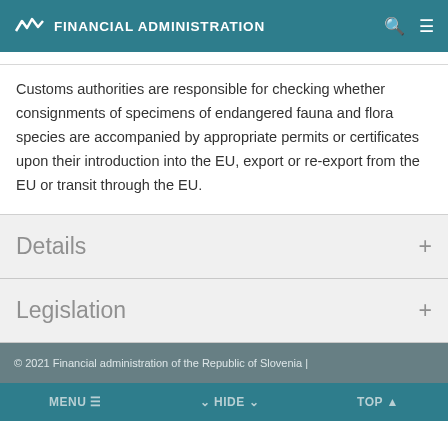FINANCIAL ADMINISTRATION
Customs authorities are responsible for checking whether consignments of specimens of endangered fauna and flora species are accompanied by appropriate permits or certificates upon their introduction into the EU, export or re-export from the EU or transit through the EU.
Details
Legislation
© 2021 Financial administration of the Republic of Slovenia |
MENU   ▼ HIDE ▼   TOP ↑